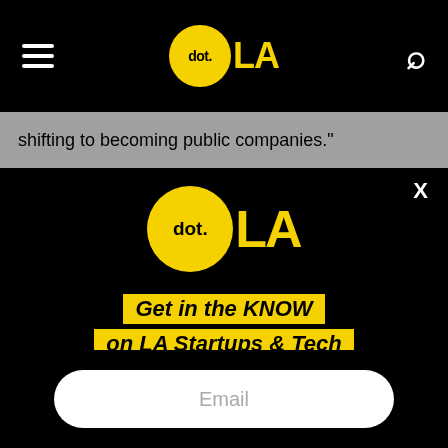dot.LA navigation header with hamburger menu and search icon
shifting to becoming public companies."
[Figure (logo): dot.LA logo — yellow circle with 'dot.' text and bold yellow 'LA' to the right, on black background]
Get in the KNOW on LA Startups & Tech
Email